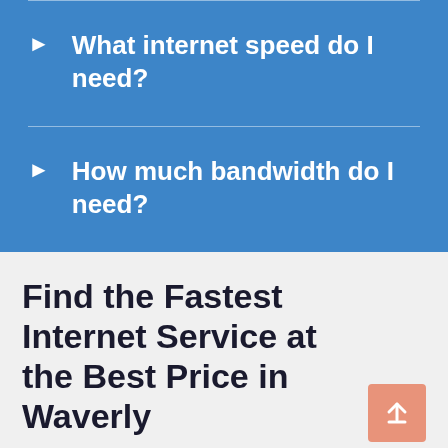What internet speed do I need?
How much bandwidth do I need?
Find the Fastest Internet Service at the Best Price in Waverly
No matter how you use your high-speed Internet – online